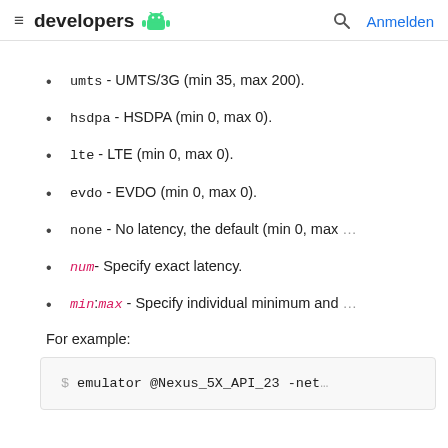≡ developers [android] Q Anmelden
(truncated top line)
umts - UMTS/3G (min 35, max 200).
hsdpa - HSDPA (min 0, max 0).
lte - LTE (min 0, max 0).
evdo - EVDO (min 0, max 0).
none - No latency, the default (min 0, max [truncated]
num - Specify exact latency.
min:max - Specify individual minimum and [truncated]
For example:
$ emulator @Nexus_5X_API_23 -net[truncated]